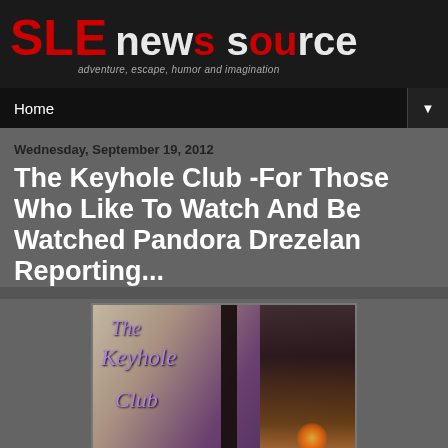SLE news source — adventure, escape, humor and imagination
Home
Wednesday, September 19, 2012
The Keyhole Club -For Those Who Like To Watch And Be Watched Pandora Drezelan Reporting...
[Figure (photo): Screenshot from a virtual world (Second Life) showing The Keyhole Club signage with purple italic text reading 'The Keyhole Club' and a dark-haired female avatar figure on the right side against a purple/dark background]